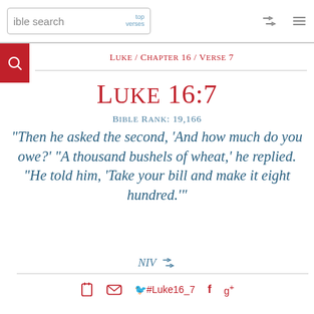ible search | top verses
Luke / Chapter 16 / Verse 7
Luke 16:7
Bible Rank: 19,166
"Then he asked the second, 'And how much do you owe?' "A thousand bushels of wheat,' he replied. "He told him, 'Take your bill and make it eight hundred.'"
NIV
#Luke16_7